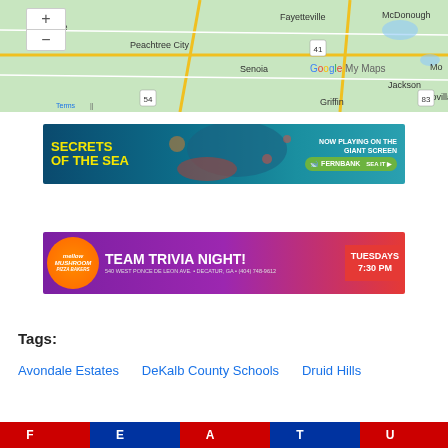[Figure (map): Google My Maps showing region around Fayetteville, McDonough, Peachtree City, Senoia, Jackson, Flovilla, Griffin in Georgia]
[Figure (other): Advertisement banner: Secrets of the Sea, Now Playing on the Giant Screen, Fernbank]
[Figure (other): Advertisement banner: Mellow Mushroom Team Trivia Night! Tuesdays 7:30 PM, 540 West Ponce De Leon Ave., Decatur, GA, (404) 748-9612]
Tags:
Avondale Estates   DeKalb County Schools   Druid Hills